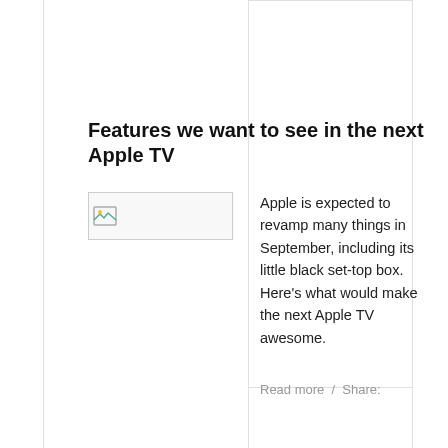Features we want to see in the next Apple TV
[Figure (photo): Broken/missing image placeholder with small icon]
Apple is expected to revamp many things in September, including its little black set-top box. Here's what would make the next Apple TV awesome.
Read more  /  Share: